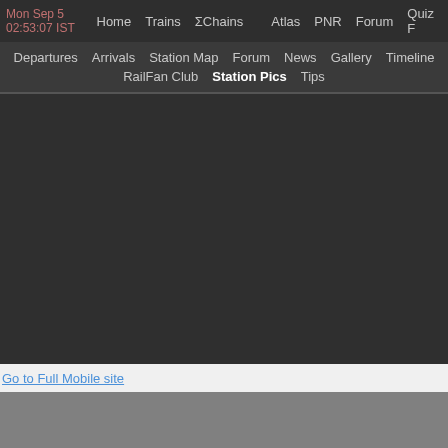Mon Sep 5 02:53:07 IST  Home  Trains  ΣChains  Atlas  PNR  Forum  Quiz F
Departures  Arrivals  Station Map  Forum  News  Gallery  Timeline  RailFan Club  Station Pics  Tips
[Figure (screenshot): Dark gray empty content area, approximately 448x270px with dark background #2f2f2f]
Go to Full Mobile site